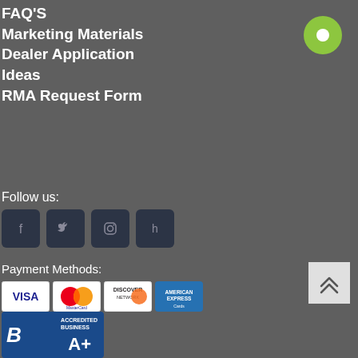FAQ'S
Marketing Materials
Dealer Application
Ideas
RMA Request Form
Follow us:
[Figure (illustration): Social media icons: Facebook, Twitter, Instagram, Houzz on dark navy rounded square backgrounds]
Payment Methods:
[Figure (illustration): Payment method logos: Visa, MasterCard, Discover Network, American Express]
[Figure (logo): BBB Accredited Business A+ rating badge]
[Figure (illustration): Green circle button with white dot in top right corner]
[Figure (illustration): Scroll-to-top button with chevron arrows, light gray background]